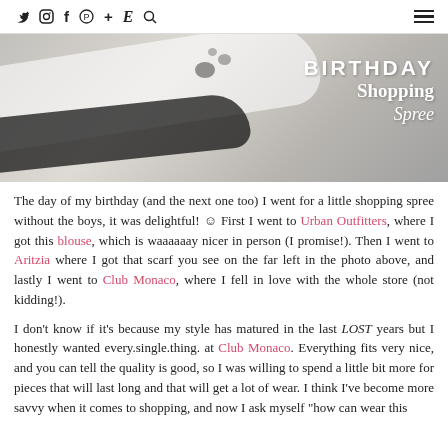Social icons: twitter, instagram, facebook, pinterest, plus, E, search — hamburger menu
[Figure (photo): Hero photo of a close-up of a white curved object (possibly a shoe or bowl) with a black and white dalmatian dog partially visible, overlaid with text: BIRTHDAY Shopping Spree]
The day of my birthday (and the next one too) I went for a little shopping spree without the boys, it was delightful! ☺ First I went to Urban Outfitters, where I got this blouse, which is waaaaaay nicer in person (I promise!). Then I went to Aritzia where I got that scarf you see on the far left in the photo above, and lastly I went to Club Monaco, where I fell in love with the whole store (not kidding!).
I don't know if it's because my style has matured in the last LOST years but I honestly wanted every.single.thing. at Club Monaco. Everything fits very nice, and you can tell the quality is good, so I was willing to spend a little bit more for pieces that will last long and that will get a lot of wear. I think I've become more savvy when it comes to shopping, and now I ask myself "how can wear this